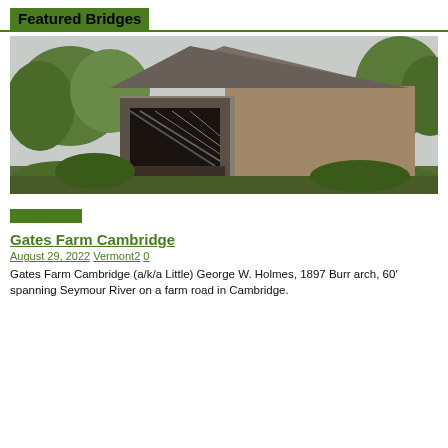Featured Bridges
[Figure (photo): A wooden covered bridge with a large barn-style roof and open portal, surrounded by green trees and shrubs, overcast sky in background.]
Gates Farm Cambridge
August 29, 2022 Vermont2 0
Gates Farm Cambridge (a/k/a Little) George W. Holmes, 1897 Burr arch, 60’ spanning Seymour River on a farm road in Cambridge.